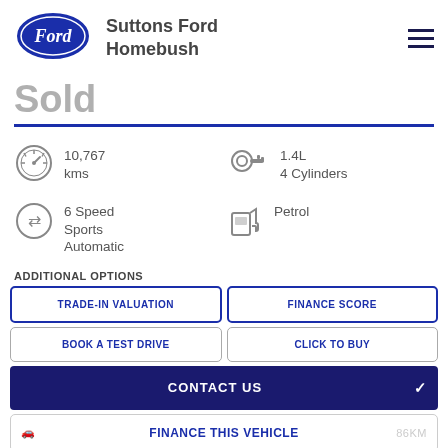[Figure (logo): Ford oval logo in dark navy blue with white script Ford text]
Suttons Ford Homebush
Sold
10,767 kms
1.4L 4 Cylinders
6 Speed Sports Automatic
Petrol
ADDITIONAL OPTIONS
TRADE-IN VALUATION
FINANCE SCORE
BOOK A TEST DRIVE
CLICK TO BUY
CONTACT US
FINANCE THIS VEHICLE